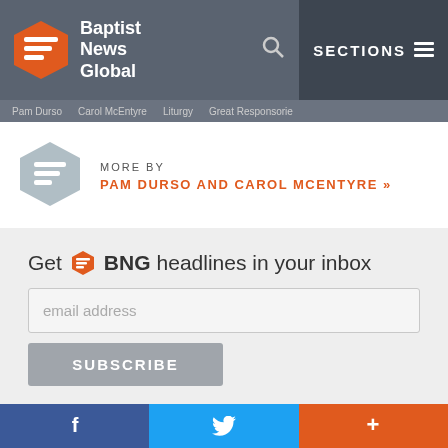Baptist News Global — SECTIONS
MORE BY PAM DURSO AND CAROL MCENTYRE »
Get BNG headlines in your inbox
email address
SUBSCRIBE
FEATURED
LGBTQ resource center will benefit from anti-gay church's penalties for illegal